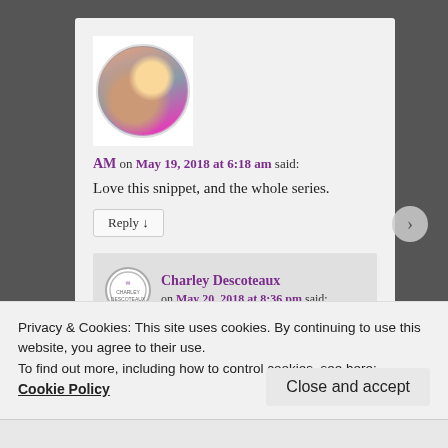AM on May 19, 2018 at 6:18 am said:
Love this snippet, and the whole series.
Reply ↓
Charley Descoteaux on May 20, 2018 at 8:36 pm said:
Privacy & Cookies: This site uses cookies. By continuing to use this website, you agree to their use.
To find out more, including how to control cookies, see here:
Cookie Policy
Close and accept